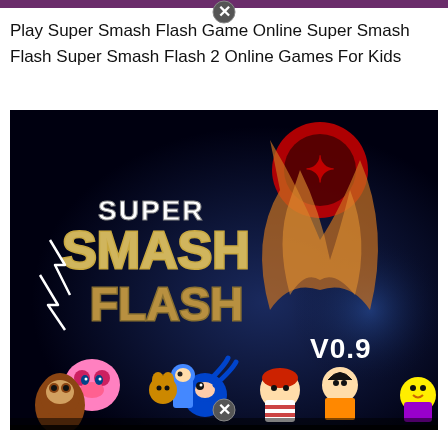Play Super Smash Flash Game Online Super Smash Flash Super Smash Flash 2 Online Games For Kids
[Figure (screenshot): Super Smash Flash 2 game title screen showing the logo 'SUPER SMASH FLASH' with 'V0.9' version label, set against a dark background with multiple video game characters including Kirby, Donkey Kong, Sonic, Mega Man, Goku, and others arranged at the bottom.]